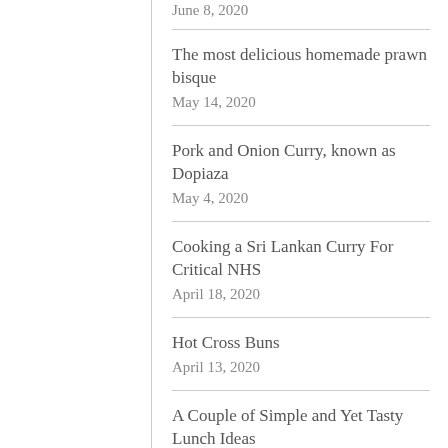June 8, 2020
The most delicious homemade prawn bisque
May 14, 2020
Pork and Onion Curry, known as Dopiaza
May 4, 2020
Cooking a Sri Lankan Curry For Critical NHS
April 18, 2020
Hot Cross Buns
April 13, 2020
A Couple of Simple and Yet Tasty Lunch Ideas
April 4, 2020